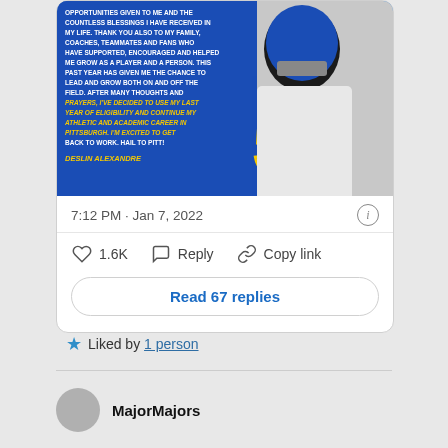[Figure (photo): A Pittsburgh Panthers football player wearing jersey number 5 in white and blue uniform with captain's C patch, against a blue background with text about returning for another year of eligibility. Signed Deslin Alexandre.]
7:12 PM · Jan 7, 2022
♡ 1.6K   Reply   Copy link
Read 67 replies
Liked by 1 person
MajorMajors